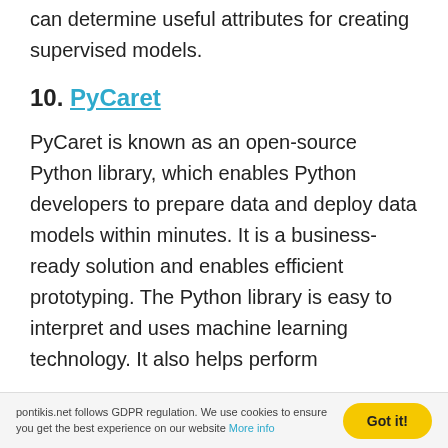can determine useful attributes for creating supervised models.
10. PyCaret
PyCaret is known as an open-source Python library, which enables Python developers to prepare data and deploy data models within minutes. It is a business-ready solution and enables efficient prototyping. The Python library is easy to interpret and uses machine learning technology. It also helps perform
pontikis.net follows GDPR regulation. We use cookies to ensure you get the best experience on our website More info